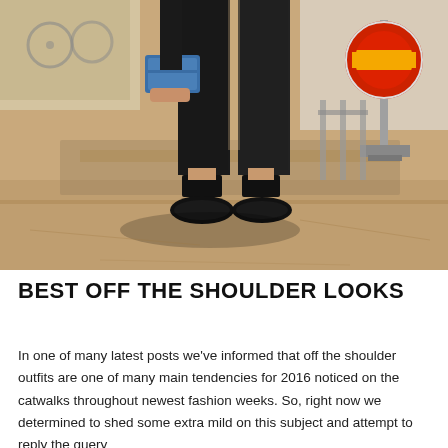[Figure (photo): Street style photo showing the lower body of a person wearing black cropped trousers and black flat shoes, carrying a blue clutch bag. The person is walking on a sandy/terracotta-colored pavement. In the background, a red and yellow circular road sign is visible on a metal post, along with bicycles and construction barriers.]
BEST OFF THE SHOULDER LOOKS
In one of many latest posts we've informed that off the shoulder outfits are one of many main tendencies for 2016 noticed on the catwalks throughout newest fashion weeks. So, right now we determined to shed some extra mild on this subject and attempt to reply the query